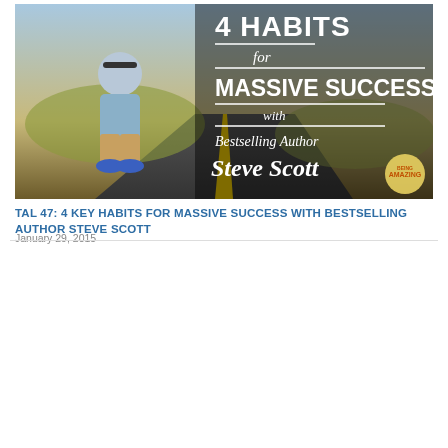[Figure (photo): Podcast thumbnail showing a man crouching on a road with text '4 HABITS for MASSIVE SUCCESS with Bestselling Author Steve Scott']
TAL 47: 4 KEY HABITS FOR MASSIVE SUCCESS WITH BESTSELLING AUTHOR STEVE SCOTT
January 29, 2015
[Figure (photo): Podcast thumbnail showing a man in a suit with text 'THE POWER OF LIVING TRUE to the Real You with Jay Forte']